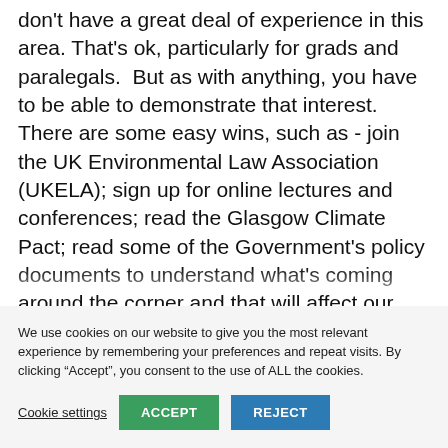don't have a great deal of experience in this area. That's ok, particularly for grads and paralegals. But as with anything, you have to be able to demonstrate that interest. There are some easy wins, such as - join the UK Environmental Law Association (UKELA); sign up for online lectures and conferences; read the Glasgow Climate Pact; read some of the Government's policy documents to understand what's coming around the corner and that will affect our clients.
We use cookies on our website to give you the most relevant experience by remembering your preferences and repeat visits. By clicking "Accept", you consent to the use of ALL the cookies.